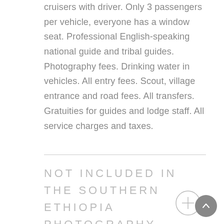transportation in air-conditioned land cruisers with driver. Only 3 passengers per vehicle, everyone has a window seat. Professional English-speaking national guide and tribal guides. Photography fees. Drinking water in vehicles. All entry fees. Scout, village entrance and road fees. All transfers. Gratuities for guides and lodge staff. All service charges and taxes.
NOT INCLUDED IN THE SOUTHERN ETHIOPIA PHOTOGRAPHY TOUR